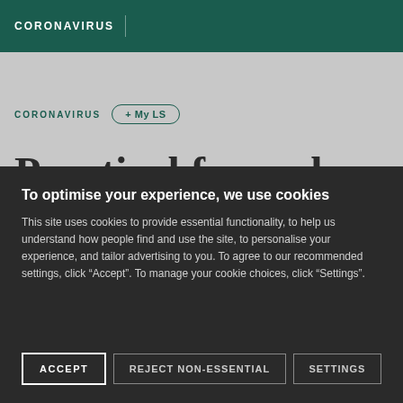CORONAVIRUS
CORONAVIRUS + My LS
Practical for...al
To optimise your experience, we use cookies

This site uses cookies to provide essential functionality, to help us understand how people find and use the site, to personalise your experience, and tailor advertising to you. To agree to our recommended settings, click "Accept". To manage your cookie choices, click "Settings".
ACCEPT | REJECT NON-ESSENTIAL | SETTINGS